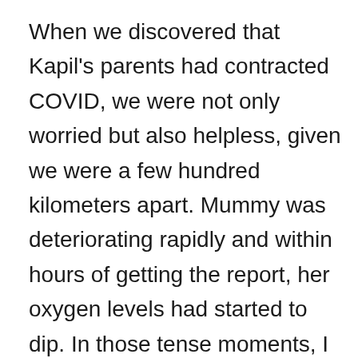When we discovered that Kapil's parents had contracted COVID, we were not only worried but also helpless, given we were a few hundred kilometers apart. Mummy was deteriorating rapidly and within hours of getting the report, her oxygen levels had started to dip. In those tense moments, I could only think of my childhood friend Shruti, a doctor now. She immediately took things in her hands and helped arrange an immediate ambulance transfer to the hospital. Both Shruti and her husband Mohnish, kept checking with the hospital staff and ensured that our parents got full